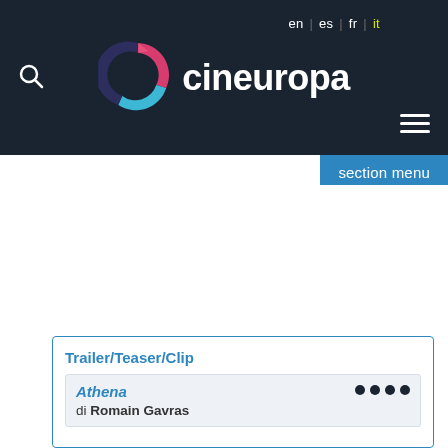cineuropa — en | es | fr | it
section menu
Trailer/Teaser/Clip
Athena
di Romain Gavras